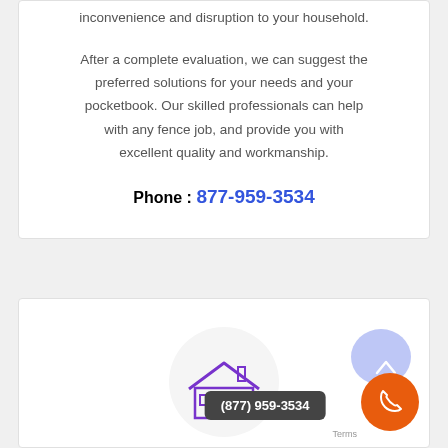inconvenience and disruption to your household.
After a complete evaluation, we can suggest the preferred solutions for your needs and your pocketbook. Our skilled professionals can help with any fence job, and provide you with excellent quality and workmanship.
Phone : 877-959-3534
[Figure (illustration): Bottom card with a house icon inside a light gray circle, a blue blob shape in the top right, a dark phone badge showing (877) 959-3534, and an orange circular call button with a phone icon.]